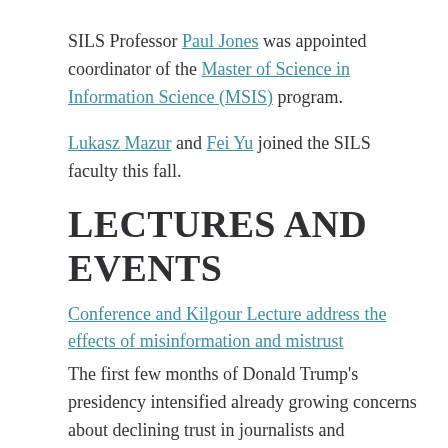SILS Professor Paul Jones was appointed coordinator of the Master of Science in Information Science (MSIS) program.
Lukasz Mazur and Fei Yu joined the SILS faculty this fall.
LECTURES AND EVENTS
Conference and Kilgour Lecture address the effects of misinformation and mistrust
The first few months of Donald Trump's presidency intensified already growing concerns about declining trust in journalists and traditional news